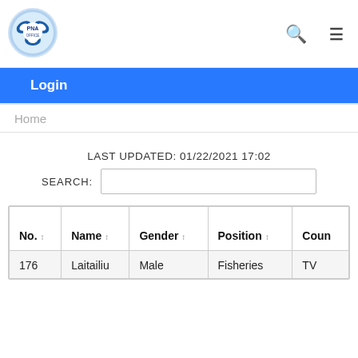[Figure (logo): PNA circular logo with fish/wave design in blue and white]
Login
Home
LAST UPDATED: 01/22/2021 17:02
SEARCH:
| No. | Name | Gender | Position | Coun |
| --- | --- | --- | --- | --- |
| 176 | Laitailiu | Male | Fisheries | TV |